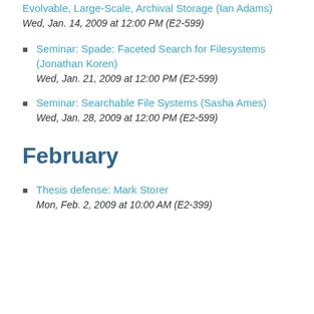Evolvable, Large-Scale, Archival Storage (Ian Adams)
Wed, Jan. 14, 2009 at 12:00 PM (E2-599)
Seminar: Spade: Faceted Search for Filesystems (Jonathan Koren)
Wed, Jan. 21, 2009 at 12:00 PM (E2-599)
Seminar: Searchable File Systems (Sasha Ames)
Wed, Jan. 28, 2009 at 12:00 PM (E2-599)
February
Thesis defense: Mark Storer
Mon, Feb. 2, 2009 at 10:00 AM (E2-399)